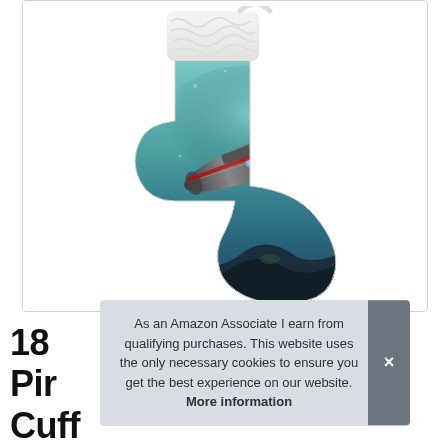[Figure (photo): A Christmas stocking with a white fluffy cuff at the top. The body of the stocking features an underwater-themed print with a submarine or large futuristic vessel in teal/dark blue underwater scenery.]
As an Amazon Associate I earn from qualifying purchases. This website uses the only necessary cookies to ensure you get the best experience on our website. More information
18 Pir Cuff Stockings, Christmas Stockings,